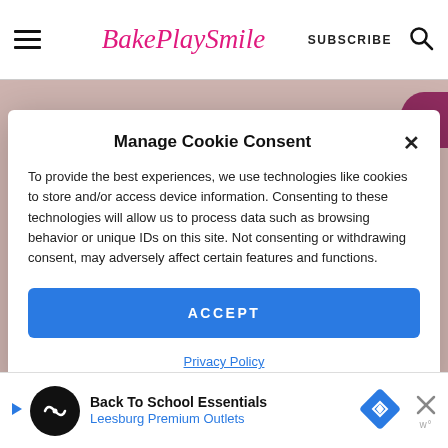BakePlaySmile  SUBSCRIBE
Manage Cookie Consent
To provide the best experiences, we use technologies like cookies to store and/or access device information. Consenting to these technologies will allow us to process data such as browsing behavior or unique IDs on this site. Not consenting or withdrawing consent, may adversely affect certain features and functions.
ACCEPT
Privacy Policy
Back To School Essentials
Leesburg Premium Outlets